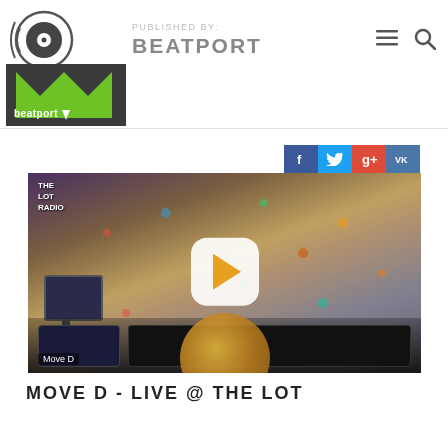PUBLISHED BY: BEATPORT
[Figure (photo): Beatport logo — circular vinyl record icon above green M logo with 'beatport' text and downward arrow]
[Figure (screenshot): Video thumbnail showing a DJ (Move D) at turntables in The Lot Radio studio, walls covered in stickers and records, with a white rounded play button overlay and a golden vinyl record partially visible]
MOVE D - LIVE @ THE LOT